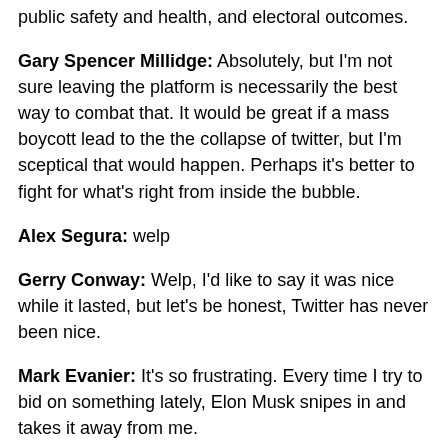public safety and health, and electoral outcomes.
Gary Spencer Millidge: Absolutely, but I'm not sure leaving the platform is necessarily the best way to combat that. It would be great if a mass boycott lead to the the collapse of twitter, but I'm sceptical that would happen. Perhaps it's better to fight for what's right from inside the bubble.
Alex Segura: welp
Gerry Conway: Welp, I'd like to say it was nice while it lasted, but let's be honest, Twitter has never been nice.
Mark Evanier: It's so frustrating. Every time I try to bid on something lately, Elon Musk snipes in and takes it away from me.
Tess Fowler: If Musk takes over I'm not sure if I can stay. Please follow my Instagram if you want to keep up with me/what projects I'm working on